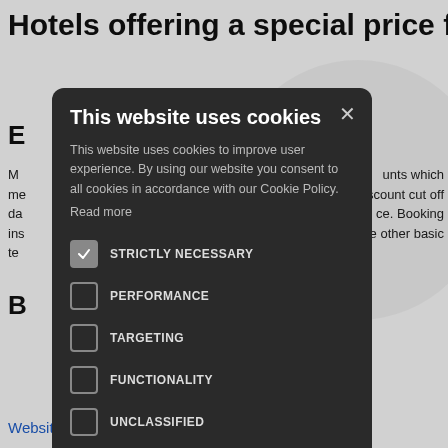Hotels offering a special price for
E
M… unts which me… s. Discount cut off da… e. Booking ins… e other basic te…
B
[Figure (screenshot): Cookie consent modal dialog with dark background. Title: 'This website uses cookies'. Body text about cookie policy. Checkboxes: STRICTLY NECESSARY (checked), PERFORMANCE, TARGETING, FUNCTIONALITY, UNCLASSIFIED. Buttons: ACCEPT ALL (green), DECLINE ALL (outlined). Footer: gear icon + SHOW DETAILS.]
Website